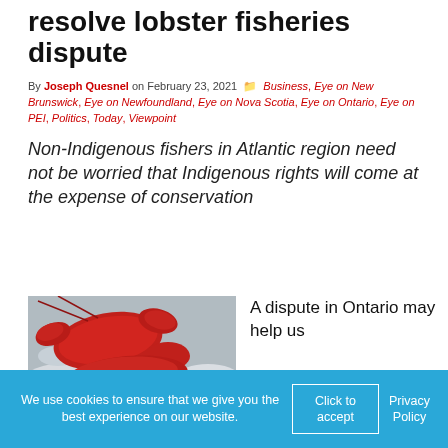resolve lobster fisheries dispute
By Joseph Quesnel on February 23, 2021  Business, Eye on New Brunswick, Eye on Newfoundland, Eye on Nova Scotia, Eye on Ontario, Eye on PEI, Politics, Today, Viewpoint
Non-Indigenous fishers in Atlantic region need not be worried that Indigenous rights will come at the expense of conservation
[Figure (photo): Close-up photo of red cooked lobsters on ice]
A dispute in Ontario may help us
We use cookies to ensure that we give you the best experience on our website.  Click to accept  Privacy Policy